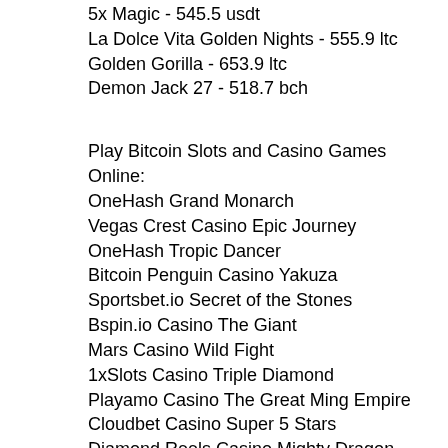5x Magic - 545.5 usdt
La Dolce Vita Golden Nights - 555.9 ltc
Golden Gorilla - 653.9 ltc
Demon Jack 27 - 518.7 bch
Play Bitcoin Slots and Casino Games Online:
OneHash Grand Monarch
Vegas Crest Casino Epic Journey
OneHash Tropic Dancer
Bitcoin Penguin Casino Yakuza
Sportsbet.io Secret of the Stones
Bspin.io Casino The Giant
Mars Casino Wild Fight
1xSlots Casino Triple Diamond
Playamo Casino The Great Ming Empire
Cloudbet Casino Super 5 Stars
Diamond Reels Casino Mighty Dragon
1xBit Casino Sun Wukong
Vegas Crest Casino StarQuest